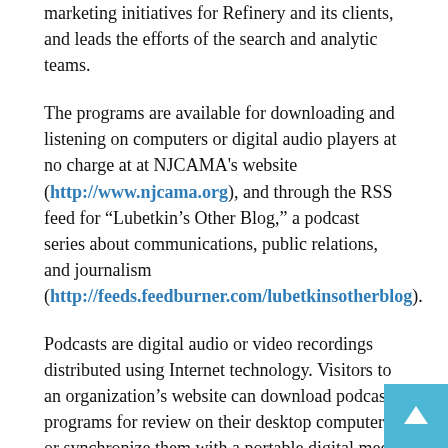marketing initiatives for Refinery and its clients, and leads the efforts of the search and analytic teams.
The programs are available for downloading and listening on computers or digital audio players at no charge at at NJCAMA's website (http://www.njcama.org), and through the RSS feed for “Lubetkin’s Other Blog,” a podcast series about communications, public relations, and journalism (http://feeds.feedburner.com/lubetkinsotherblog).
Podcasts are digital audio or video recordings distributed using Internet technology. Visitors to an organization’s website can download podcast programs for review on their desktop computers, or synchronize them with a portable digital media device. Software programs called “feed readers” or “podcatchers” allow users to “subscribe” to podcasts at no cost, and receive new programs in a podcast series automatica... In addition to the other web locations mentioned, the NJCAMA